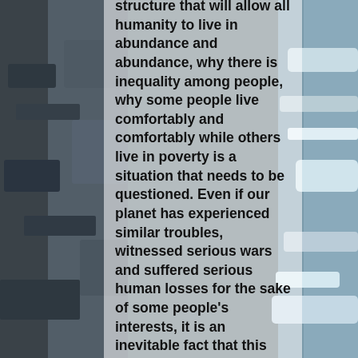[Figure (photo): Background photograph showing rocky coastal cliffs on the left side and ocean waves on the right side, with a semi-transparent white overlay in the center containing text.]
structure that will allow all humanity to live in abundance and abundance, why there is inequality among people, why some people live comfortably and comfortably while others live in poverty is a situation that needs to be questioned. Even if our planet has experienced similar troubles, witnessed serious wars and suffered serious human losses for the sake of some people's interests, it is an inevitable fact that this situation can be corrected and that all humanity will find comfort and live freely. When I got to know the Illuminatiam, it was a great hope for humanity to see that